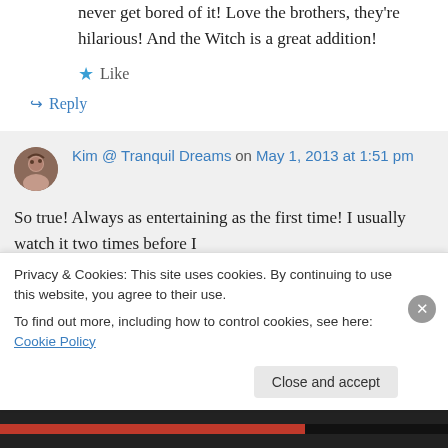never get bored of it! Love the brothers, they're hilarious! And the Witch is a great addition!
★ Like
↪ Reply
Kim @ Tranquil Dreams on May 1, 2013 at 1:51 pm
So true! Always as entertaining as the first time! I usually watch it two times before I
Privacy & Cookies: This site uses cookies. By continuing to use this website, you agree to their use.
To find out more, including how to control cookies, see here: Cookie Policy
Close and accept